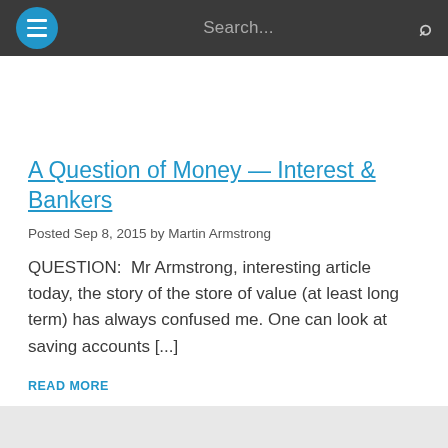Search...
A Question of Money — Interest & Bankers
Posted Sep 8, 2015 by Martin Armstrong
QUESTION:  Mr Armstrong, interesting article today, the story of the store of value (at least long term) has always confused me. One can look at saving accounts [...]
READ MORE
Q&A